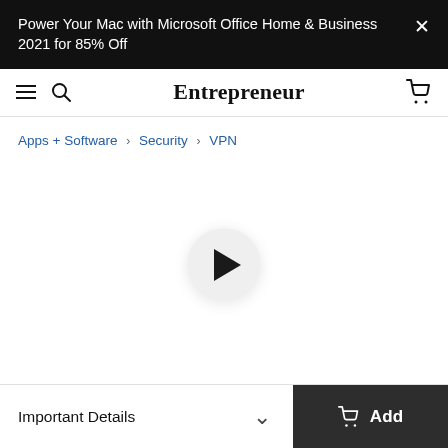Power Your Mac with Microsoft Office Home & Business 2021 for 85% Off
Entrepreneur
Apps + Software > Security > VPN
[Figure (other): Video player area with a circular play button in the center on white background]
Important Details